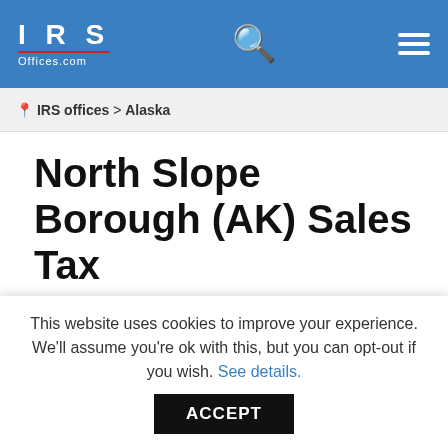IRS Offices.com
IRS offices > Alaska
North Slope Borough (AK) Sales Tax
Comments: Comments Off
Each business in Alaska needs to collect sales taxes to then pay up to the Department of Revenue. The sales taxes are added to qualifying items and services sold. The sales tax rate
This website uses cookies to improve your experience. We'll assume you're ok with this, but you can opt-out if you wish. See details. ACCEPT